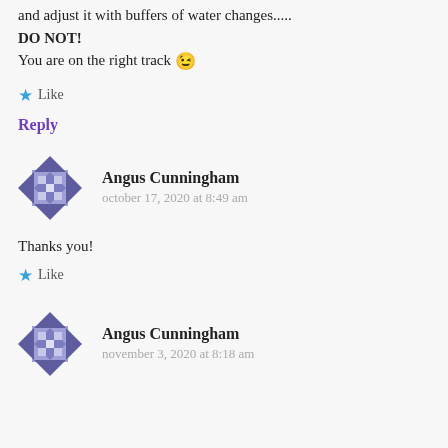and adjust it with buffers of water changes...... DO NOT!
You are on the right track 😉
★ Like
Reply
Angus Cunningham
october 17, 2020 at 8:49 am
Thanks you!
★ Like
Angus Cunningham
november 3, 2020 at 8:18 am